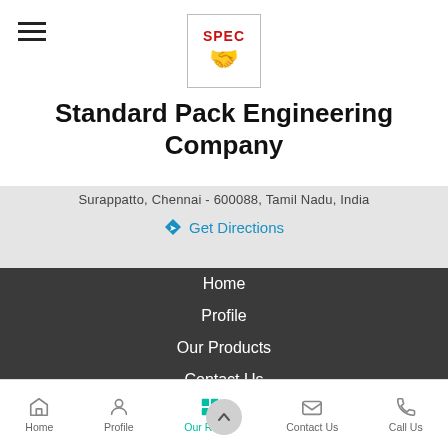[Figure (logo): SPEC company logo with red SPEC text and handshake icon in a bordered box]
Standard Pack Engineering Company
Surappatto, Chennai - 600088, Tamil Nadu, India
Get Directions
Home
Profile
Our Products
Contact Us
Home   Profile   Our Range   Contact Us   Call Us